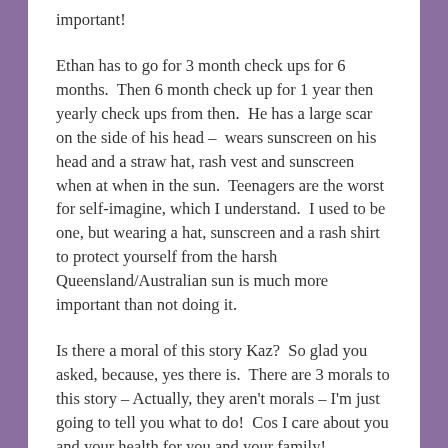important!
Ethan has to go for 3 month check ups for 6 months.  Then 6 month check up for 1 year then yearly check ups from then.  He has a large scar on the side of his head –  wears sunscreen on his head and a straw hat, rash vest and sunscreen when at when in the sun.  Teenagers are the worst for self-imagine, which I understand.  I used to be one, but wearing a hat, sunscreen and a rash shirt to protect yourself from the harsh Queensland/Australian sun is much more important than not doing it.
Is there a moral of this story Kaz?  So glad you asked, because, yes there is.  There are 3 morals to this story – Actually, they aren't morals – I'm just going to tell you what to do!  Cos I care about you and your health for you and your family!